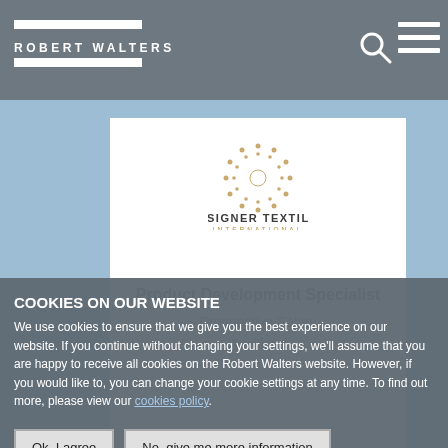ROBERT WALTERS
[Figure (logo): Designer Textiles International logo — circular dot pattern in gold above the text 'DESIGNER TEXTILES INTERNATIONAL']
Product Development Specialist
Competitive Salary
Auckland
COOKIES ON OUR WEBSITE
We use cookies to ensure that we give you the best experience on our website. If you continue without changing your settings, we'll assume that you are happy to receive all cookies on the Robert Walters website. However, if you would like to, you can change your cookie settings at any time. To find out more, please view our cookies policy.
Ok, I agree
No, give me more information